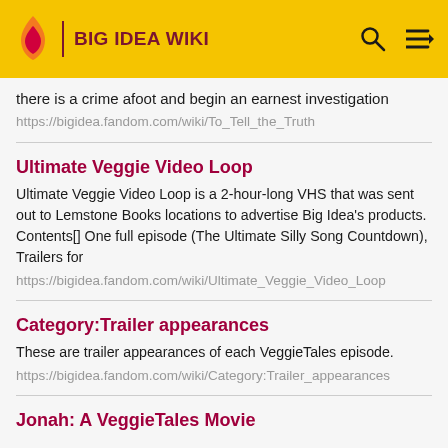BIG IDEA WIKI
there is a crime afoot and begin an earnest investigation
https://bigidea.fandom.com/wiki/To_Tell_the_Truth
Ultimate Veggie Video Loop
Ultimate Veggie Video Loop is a 2-hour-long VHS that was sent out to Lemstone Books locations to advertise Big Idea's products. Contents[] One full episode (The Ultimate Silly Song Countdown), Trailers for
https://bigidea.fandom.com/wiki/Ultimate_Veggie_Video_Loop
Category:Trailer appearances
These are trailer appearances of each VeggieTales episode.
https://bigidea.fandom.com/wiki/Category:Trailer_appearances
Jonah: A VeggieTales Movie